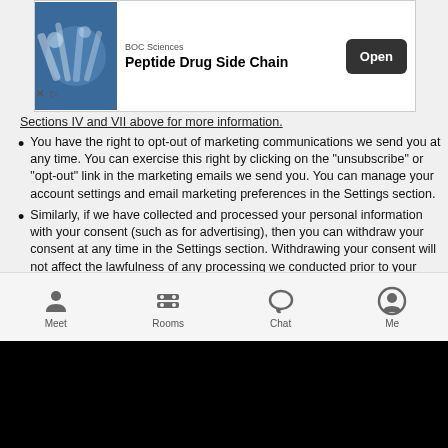[Figure (screenshot): BOC Sciences advertisement banner for Peptide Drug Side Chain with Open button]
Sections IV and VII above for more information.
You have the right to opt-out of marketing communications we send you at any time. You can exercise this right by clicking on the "unsubscribe" or "opt-out" link in the marketing emails we send you. You can manage your account settings and email marketing preferences in the Settings section.
Similarly, if we have collected and processed your personal information with your consent (such as for advertising), then you can withdraw your consent at any time in the Settings section. Withdrawing your consent will not affect the lawfulness of any processing we conducted prior to your withdrawal, nor will it affect processing of your personal information conducted in reliance on lawful processing grounds other than consent. Please note that if you opt-out of having your data shared with advertisers, you will still see ads, they just will not be tailored to your interests.
You have the right to complain to a data protection authority about our collection and use of your personal information. For more information, please contact your local data protection
[Figure (screenshot): Mobile app bottom navigation bar with Meet, Rooms, Chat, Me icons]